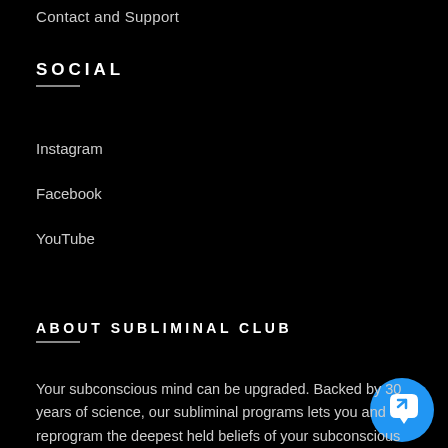Contact and Support
SOCIAL
Instagram
Facebook
YouTube
[Figure (screenshot): Chat popup with close X button and message: Get 30% off your first order, or ask a question! alongside a blue chat bubble icon.]
ABOUT SUBLIMINAL CLUB
Your subconscious mind can be upgraded. Backed by 30 years of science, our subliminal programs lets you and reprogram the deepest held beliefs of your subconscious mind to enhance your cognitive and physical capabilities.